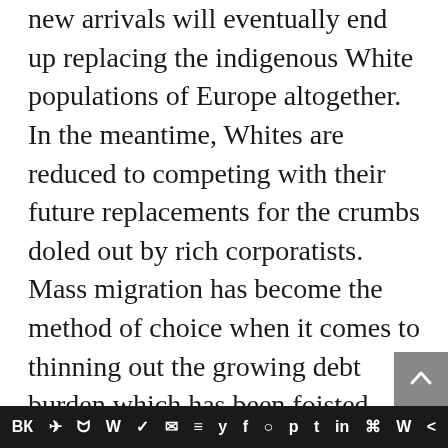new arrivals will eventually end up replacing the indigenous White populations of Europe altogether. In the meantime, Whites are reduced to competing with their future replacements for the crumbs doled out by rich corporatists. Mass migration has become the method of choice when it comes to thinning out the growing debt burden which has been foisted upon Western nations by their feckless leaders. You can remonstrate all you want about how you cannot maintain a First World civilisation with Third World people, but your words will fall on deaf ears. The Pyramid does not exist to sustain the long term survival needs of a First World civilisation. It's a get-rich-scheme destined to eventually kill off the very which has th...